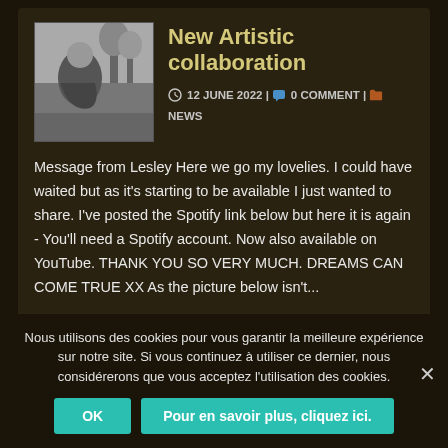[Figure (photo): Black and white photo of a person outdoors]
New Artistic collaboration
12 JUNE 2022 | 0 COMMENT | NEWS
Message from Lesley Here we go my lovelies. I could have waited but as it's starting to be available I just wanted to share. I've posted the Spotify link below but here it is again - You'll need a Spotify account. Now also available on YouTube. THANK YOU SO VERY MUCH. DREAMS CAN COME TRUE XX As the picture below isn't...
Nous utilisons des cookies pour vous garantir la meilleure expérience sur notre site. Si vous continuez à utiliser ce dernier, nous considérerons que vous acceptez l'utilisation des cookies.
OK
Pour en savoir plus, cliquez ici.